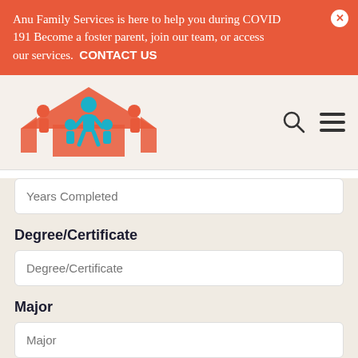Anu Family Services is here to help you during COVID 191 Become a foster parent, join our team, or access our services. CONTACT US
[Figure (logo): Anu Family Services logo: stylized family figures under a house roof in red and blue]
Years Completed (placeholder input field)
Degree/Certificate
Degree/Certificate (placeholder input field)
Major
Major (placeholder input field)
+ Add another College or Other School